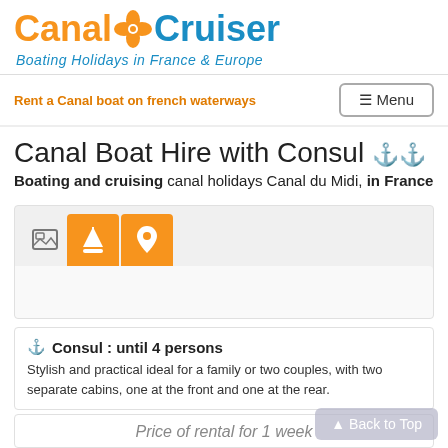[Figure (logo): Canal Cruiser logo with orange flower/propeller icon between 'Canal' in orange and 'Cruiser' in blue]
Boating Holidays in France & Europe
Rent a Canal boat on french waterways
≡ Menu
Canal Boat Hire with Consul ⚓⚓
Boating and cruising canal holidays Canal du Midi, in France
[Figure (screenshot): Tab widget with image icon, active orange sail-boat tab, and active orange location-pin tab]
Consul : until 4 persons
Stylish and practical ideal for a family or two couples, with two separate cabins, one at the front and one at the rear.
Price of rental for 1 week